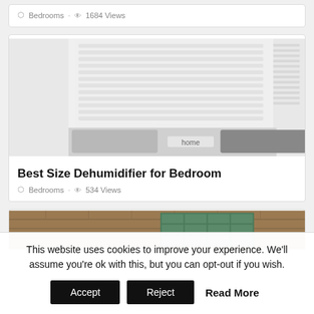Bedrooms • 1684 Views
[Figure (photo): Close-up photo of a white dehumidifier with 'home' branding, showing ribbed top and gray control panel]
Best Size Dehumidifier for Bedroom
Bedrooms • 534 Views
[Figure (photo): Photo of a brick building exterior with windows]
This website uses cookies to improve your experience. We'll assume you're ok with this, but you can opt-out if you wish.